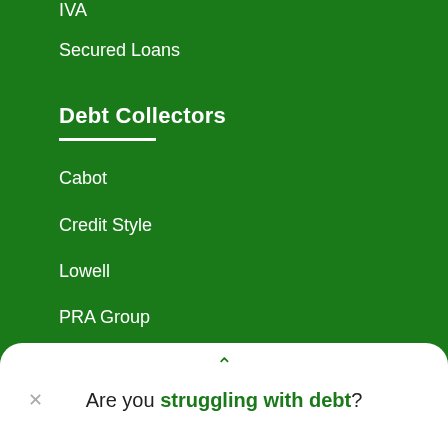IVA
Secured Loans
Debt Collectors
Cabot
Credit Style
Lowell
PRA Group
Robinson Way
More Debt Collectors
Important Information
Are you struggling with debt?